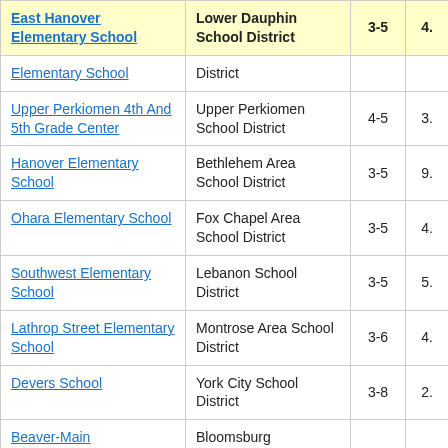| School | District | Grades | Score |
| --- | --- | --- | --- |
| East Hanover Elementary School | Lower Dauphin School District | 3-5 | 4. |
| Elementary School | District |  |  |
| Upper Perkiomen 4th And 5th Grade Center | Upper Perkiomen School District | 4-5 | 3. |
| Hanover Elementary School | Bethlehem Area School District | 3-5 | 9. |
| Ohara Elementary School | Fox Chapel Area School District | 3-5 | 4. |
| Southwest Elementary School | Lebanon School District | 3-5 | 5. |
| Lathrop Street Elementary School | Montrose Area School District | 3-6 | 4. |
| Devers School | York City School District | 3-8 | 2. |
| Beaver-Main | Bloomsburg |  |  |